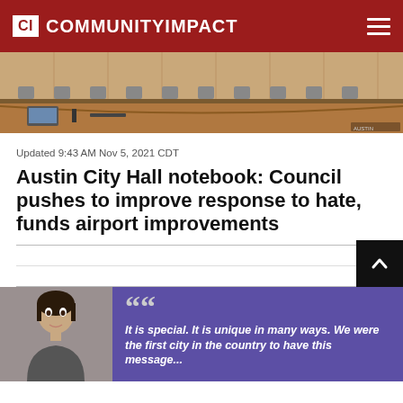CI COMMUNITYIMPACT
[Figure (photo): Interior photo of Austin City Hall council chambers showing curved wooden desks and seating, with laptop visible on desk]
Updated 9:43 AM Nov 5, 2021 CDT
Austin City Hall notebook: Council pushes to improve response to hate, funds airport improvements
[Figure (photo): Person photo on purple/blue map background with quote overlay reading: It is special. It is unique in many ways. We were the first city in the country to have this message...]